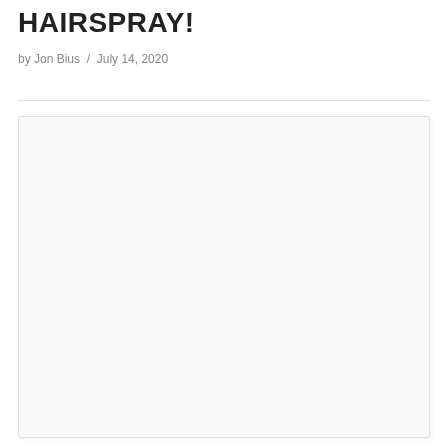HAIRSPRAY!
by Jon Bius / July 14, 2020
[Figure (photo): Large image placeholder box with light gray background and subtle border, occupying the lower portion of the page.]